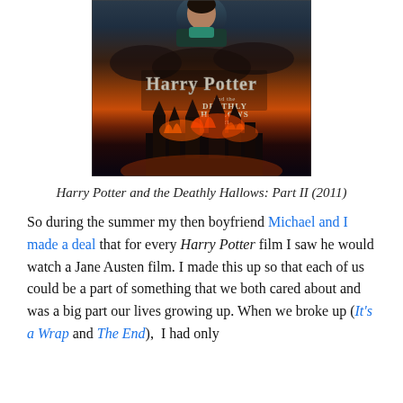[Figure (photo): Movie poster for Harry Potter and the Deathly Hallows: Part 2 (2011), showing Harry Potter's face at top center with dark teal collar visible, and Hogwarts castle in flames at the bottom, with the stylized Harry Potter logo in the center.]
Harry Potter and the Deathly Hallows: Part II (2011)
So during the summer my then boyfriend Michael and I made a deal that for every Harry Potter film I saw he would watch a Jane Austen film. I made this up so that each of us could be a part of something that we both cared about and was a big part our lives growing up. When we broke up (It's a Wrap and The End),  I had only